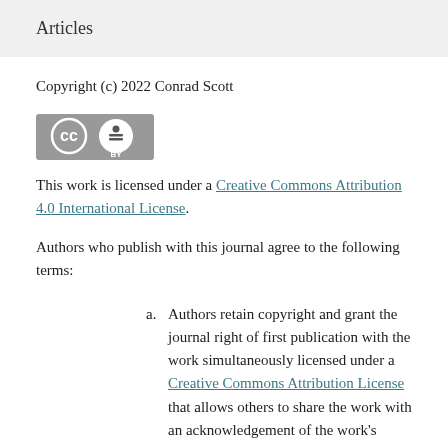Articles
Copyright (c) 2022 Conrad Scott
[Figure (logo): Creative Commons BY license badge showing CC and BY icons on a grey background]
This work is licensed under a Creative Commons Attribution 4.0 International License.
Authors who publish with this journal agree to the following terms:
a. Authors retain copyright and grant the journal right of first publication with the work simultaneously licensed under a Creative Commons Attribution License that allows others to share the work with an acknowledgement of the work's authorship and initial publication in this journal.